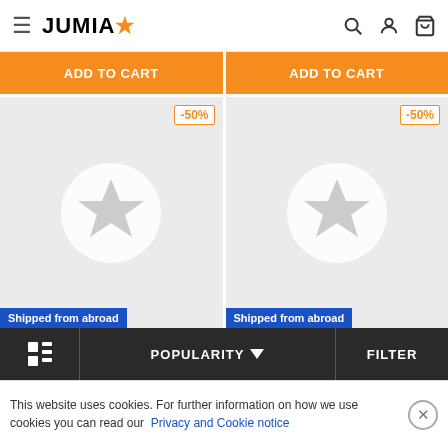JUMIA
[Figure (screenshot): Two orange ADD TO CART buttons side by side]
[Figure (screenshot): Two product placeholder cards with -50% discount badges and Shipped from abroad labels, each showing a white star-circle placeholder image on grey background]
POPULARITY
FILTER
This website uses cookies. For further information on how we use cookies you can read our Privacy and Cookie notice